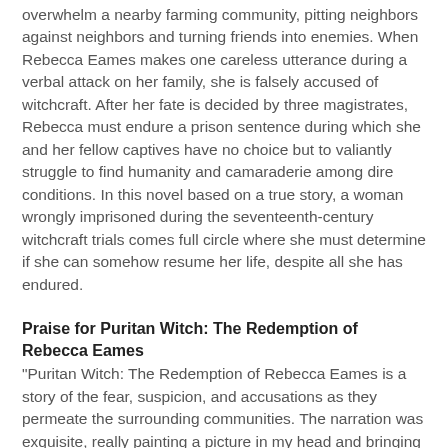overwhelm a nearby farming community, pitting neighbors against neighbors and turning friends into enemies. When Rebecca Eames makes one careless utterance during a verbal attack on her family, she is falsely accused of witchcraft. After her fate is decided by three magistrates, Rebecca must endure a prison sentence during which she and her fellow captives have no choice but to valiantly struggle to find humanity and camaraderie among dire conditions. In this novel based on a true story, a woman wrongly imprisoned during the seventeenth-century witchcraft trials comes full circle where she must determine if she can somehow resume her life, despite all she has endured.
Praise for Puritan Witch: The Redemption of Rebecca Eames
“Puritan Witch: The Redemption of Rebecca Eames is a story of the fear, suspicion, and accusations as they permeate the surrounding communities. The narration was exquisite, really painting a picture in my head and bringing to life the language of the Puritans much better than it usually is done. I loved that it was based on a true story and that the story really expands on a piece of the darkest of American